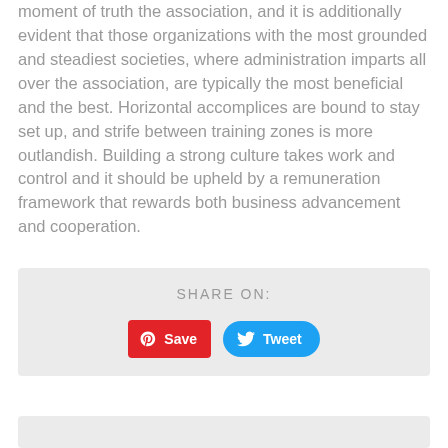moment of truth the association, and it is additionally evident that those organizations with the most grounded and steadiest societies, where administration imparts all over the association, are typically the most beneficial and the best. Horizontal accomplices are bound to stay set up, and strife between training zones is more outlandish. Building a strong culture takes work and control and it should be upheld by a remuneration framework that rewards both business advancement and cooperation.
SHARE ON:
[Figure (infographic): Share on social media buttons: Pinterest Save button (red) and Twitter Tweet button (blue)]